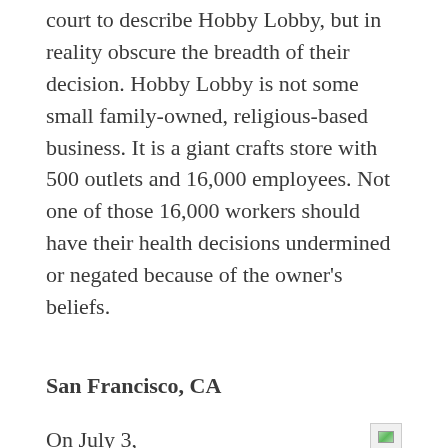court to describe Hobby Lobby, but in reality obscure the breadth of their decision. Hobby Lobby is not some small family-owned, religious-based business. It is a giant crafts store with 500 outlets and 16,000 employees. Not one of those 16,000 workers should have their health decisions undermined or negated because of the owner's beliefs.
San Francisco, CA
On July 3, dozens of supporters of women's rights came out to Powell and Market Streets to denounce the Supreme Court decision
[Figure (photo): Small image thumbnail, San Francisco CA label]
San Francisco, CA